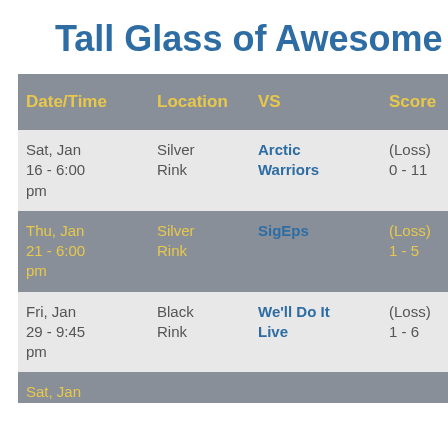Tall Glass of Awesome
| Date/Time | Location | VS | Score | Goals | A |
| --- | --- | --- | --- | --- | --- |
| Sat, Jan 16 - 6:00 pm | Silver Rink | Arctic Warriors | (Loss) 0 - 11 | 0 | 0 |
| Thu, Jan 21 - 6:00 pm | Silver Rink | SigEps | (Loss) 1 - 5 | 0 | 0 |
| Fri, Jan 29 - 9:45 pm | Black Rink | We'll Do It Live | (Loss) 1 - 6 | 0 | 1 |
| Sat, Jan ... |  |  |  |  |  |